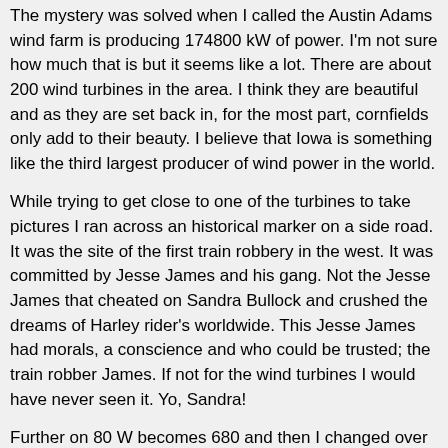The mystery was solved when I called the Austin Adams wind farm is producing 174800 kW of power. I'm not sure how much that is but it seems like a lot. There are about 200 wind turbines in the area. I think they are beautiful and as they are set back in, for the most part, cornfields only add to their beauty. I believe that Iowa is something like the third largest producer of wind power in the world.
While trying to get close to one of the turbines to take pictures I ran across an historical marker on a side road. It was the site of the first train robbery in the west. It was committed by Jesse James and his gang. Not the Jesse James that cheated on Sandra Bullock and crushed the dreams of Harley rider's worldwide. This Jesse James had morals, a conscience and who could be trusted; the train robber James. If not for the wind turbines I would have never seen it. Yo, Sandra!
Further on 80 W becomes 680 and then I changed over to 29 N. 29 north sucks. The road is broken and patched everywhere. It looks like they drizzled hot tar in holes to hide the defects. In a couple of places they've filled potholes in with concrete but neglected to even it out with the rest of the road.
There are a few elevation changes here and then after a few miles you drop out onto a plain/valley? I could see what I thought were mountains in the distance but I wasn't too sure just how far